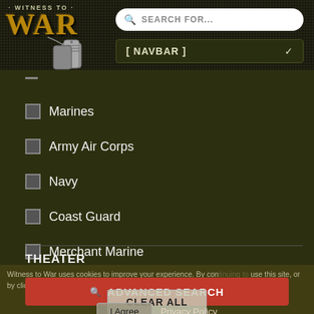[Figure (screenshot): Witness to War website header with logo showing 'WITNESS TO WAR' text with dog tag imagery]
SEARCH FOR...
[ NAVBAR ]
Marines
Army Air Corps
Navy
Coast Guard
Merchant Marine
Air Force
THEATER
Witness to War uses cookies to improve your experience. By continuing to use this site, or by clicking "I Agree," you consent to the use of cookies.
CLEAR ALL
ADVANCED SEARCH
I Agree
Privacy Policy